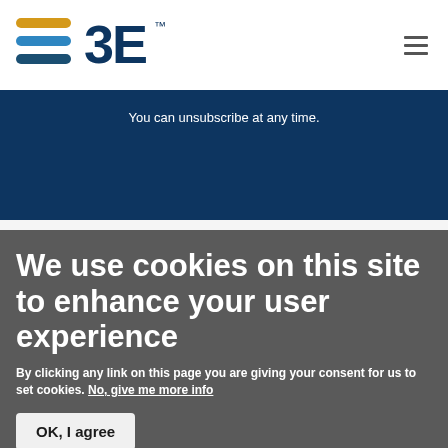[Figure (logo): 3E company logo with colored horizontal lines and '3E' text with trademark symbol]
You can unsubscribe at any time.
We use cookies on this site to enhance your user experience
By clicking any link on this page you are giving your consent for us to set cookies. No, give me more info
OK, I agree